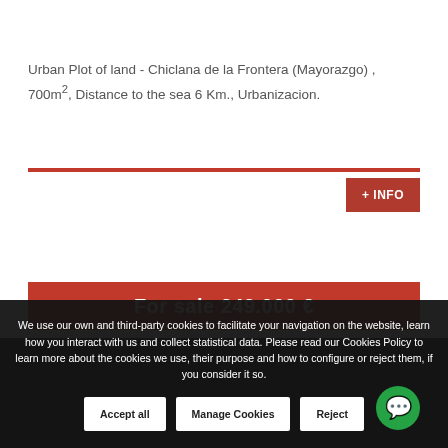Urban Plot of land - Chiclana de la Frontera (Mayorazgo) , 700m², Distance to the sea 6 Km., Urbanizacion.
[Figure (other): Red horizontal divider line]
+ INFO
For sale 249.000 €
QUESTION?
We use our own and third-party cookies to facilitate your navigation on the website, learn how you interact with us and collect statistical data. Please read our Cookies Policy to learn more about the cookies we use, their purpose and how to configure or reject them, if you consider it so.
Accept all
Manage Cookies
Reject